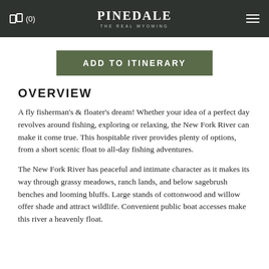(0) PINEDALE THE REAL WYOMING
ADD TO ITINERARY
OVERVIEW
A fly fisherman's & floater's dream! Whether your idea of a perfect day revolves around fishing, exploring or relaxing, the New Fork River can make it come true. This hospitable river provides plenty of options, from a short scenic float to all-day fishing adventures.
The New Fork River has peaceful and intimate character as it makes its way through grassy meadows, ranch lands, and below sagebrush benches and looming bluffs. Large stands of cottonwood and willow offer shade and attract wildlife. Convenient public boat accesses make this river a heavenly float.